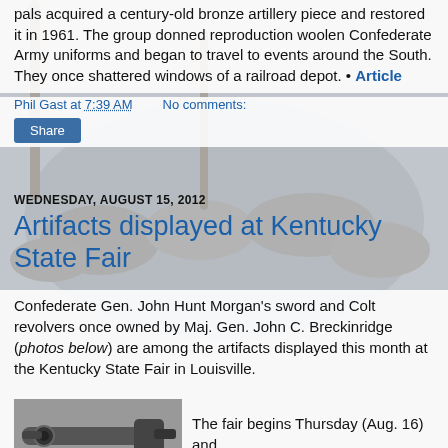pals acquired a century-old bronze artillery piece and restored it in 1961. The group donned reproduction woolen Confederate Army uniforms and began to travel to events around the South. They once shattered windows of a railroad depot. • Article
Phil Gast at 7:39 AM    No comments:
Share
WEDNESDAY, AUGUST 15, 2012
Artifacts displayed at Kentucky State Fair
Confederate Gen. John Hunt Morgan's sword and Colt revolvers once owned by Maj. Gen. John C. Breckinridge (photos below) are among the artifacts displayed this month at the Kentucky State Fair in Louisville.
[Figure (photo): Photo of an antique revolver pistol, likely a Colt revolver, displayed horizontally against a light background.]
The fair begins Thursday (Aug. 16) and